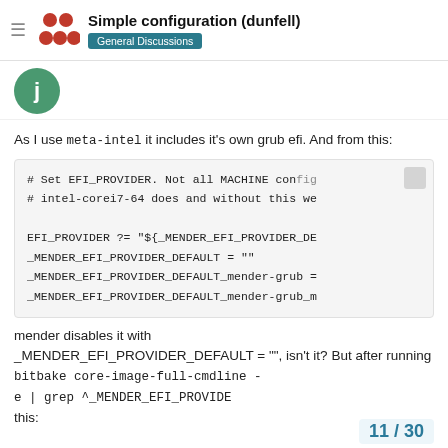Simple configuration (dunfell) — General Discussions
As I use meta-intel it includes it's own grub efi. And from this:
# Set EFI_PROVIDER. Not all MACHINE con...
# intel-corei7-64 does and without this we...

EFI_PROVIDER ?= "${_MENDER_EFI_PROVIDER_DE...
_MENDER_EFI_PROVIDER_DEFAULT = ""
_MENDER_EFI_PROVIDER_DEFAULT_mender-grub =...
_MENDER_EFI_PROVIDER_DEFAULT_mender-grub_m...
mender disables it with _MENDER_EFI_PROVIDER_DEFAULT = "", isn't it? But after running bitbake core-image-full-cmdline -e | grep ^_MENDER_EFI_PROVIDE... this:
11 / 30